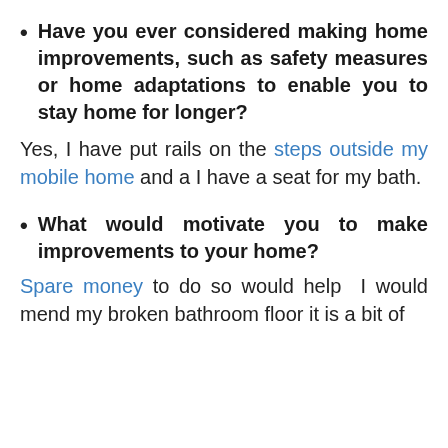Have you ever considered making home improvements, such as safety measures or home adaptations to enable you to stay home for longer?
Yes, I have put rails on the steps outside my mobile home and a I have a seat for my bath.
What would motivate you to make improvements to your home?
Spare money to do so would help  I would mend my broken bathroom floor it is a bit of